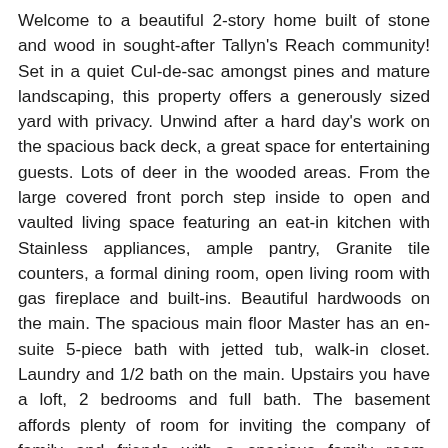Welcome to a beautiful 2-story home built of stone and wood in sought-after Tallyn's Reach community! Set in a quiet Cul-de-sac amongst pines and mature landscaping, this property offers a generously sized yard with privacy. Unwind after a hard day's work on the spacious back deck, a great space for entertaining guests. Lots of deer in the wooded areas. From the large covered front porch step inside to open and vaulted living space featuring an eat-in kitchen with Stainless appliances, ample pantry, Granite tile counters, a formal dining room, open living room with gas fireplace and built-ins. Beautiful hardwoods on the main. The spacious main floor Master has an en-suite 5-piece bath with jetted tub, walk-in closet. Laundry and 1/2 bath on the main. Upstairs you have a loft, 2 bedrooms and full bath. The basement affords plenty of room for inviting the company of family and friends with a spacious family room, kitchenette/wet bar, nook for office or workout area and 1/2 bath. Enjoy friendly neighbors and a great lifestyle with trails at the ready, a community pool, clubhouse with activities such as yoga in the park. The HOA is responsible for